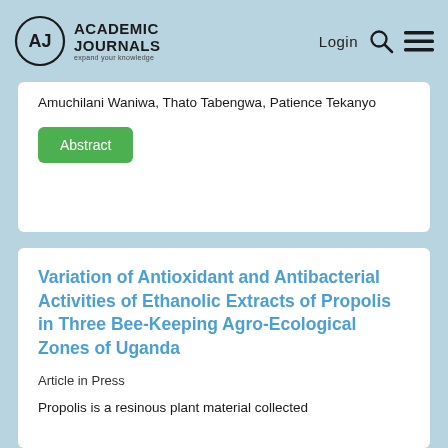Academic Journals | Login
Amuchilani Waniwa, Thato Tabengwa, Patience Tekanyo
Abstract
Variation of Antioxidant and Antibacterial Activities of Ethanolic Extracts of Propolis in Three Bee-Keeping Agro-Ecological Zones of Uganda
Article in Press
Propolis is a resinous plant material collected